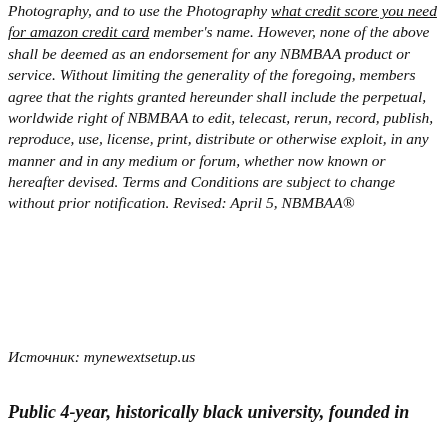Photography, and to use the Photography what credit score you need for amazon credit card member's name. However, none of the above shall be deemed as an endorsement for any NBMBAA product or service. Without limiting the generality of the foregoing, members agree that the rights granted hereunder shall include the perpetual, worldwide right of NBMBAA to edit, telecast, rerun, record, publish, reproduce, use, license, print, distribute or otherwise exploit, in any manner and in any medium or forum, whether now known or hereafter devised. Terms and Conditions are subject to change without prior notification. Revised: April 5, NBMBAA®
Источник: mynewextsetup.us
Public 4-year, historically black university, founded in